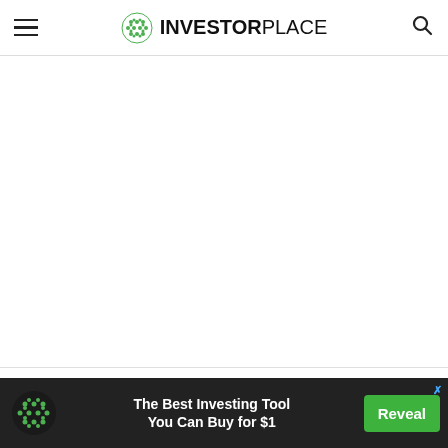InvestorPlace
[Figure (other): Advertisement placeholder area (white space)]
Biggest Movers in Transportation Stocks Now – GNRT AAL UAL DHT
[Figure (infographic): Bottom banner advertisement: green dotted-circle logo on dark background, text 'The Best Investing Tool You Can Buy for $1', green Reveal button]